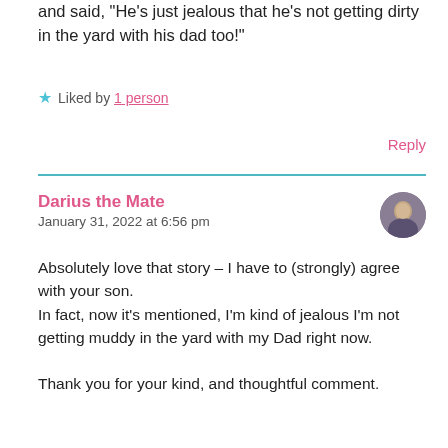and said, "He's just jealous that he's not getting dirty in the yard with his dad too!"
★ Liked by 1 person
Reply
Darius the Mate
January 31, 2022 at 6:56 pm
Absolutely love that story – I have to (strongly) agree with your son.
In fact, now it's mentioned, I'm kind of jealous I'm not getting muddy in the yard with my Dad right now.

Thank you for your kind, and thoughtful comment.